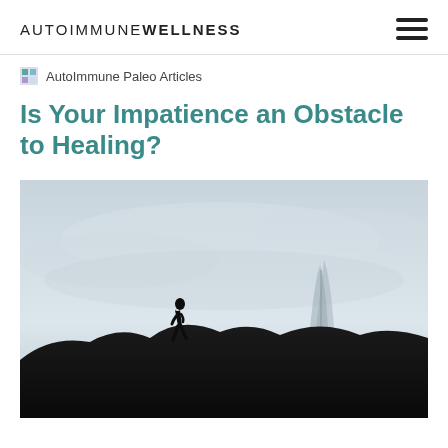AUTOIMMUNE WELLNESS
AutoImmune Paleo Articles
Is Your Impatience an Obstacle to Healing?
[Figure (photo): Silhouette of a person standing on a rocky ridge against a pale overcast sky with a leafless tree in the background.]